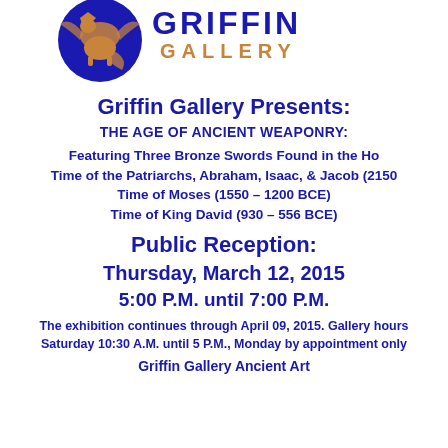[Figure (logo): Griffin Gallery logo: circular dark blue emblem with a griffin figure in orange/brown tones, with 'GRIFFIN' and 'GALLERY' text in dark blue and orange to the right]
Griffin Gallery Presents:
THE AGE OF ANCIENT WEAPONRY:
Featuring Three Bronze Swords Found in the Holy Land from the Time of the Patriarchs, Abraham, Isaac, & Jacob (2150 – 1550 BCE) Time of Moses (1550 – 1200 BCE) Time of King David (930 – 556 BCE)
Public Reception:
Thursday, March 12, 2015
5:00 P.M. until 7:00 P.M.
The exhibition continues through April 09, 2015. Gallery hours are Tuesday through Saturday 10:30 A.M. until 5 P.M., Monday by appointment only.
Griffin Gallery Ancient Art